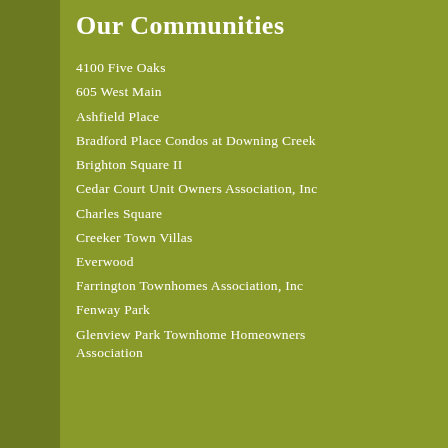Our Communities
4100 Five Oaks
605 West Main
Ashfield Place
Bradford Place Condos at Downing Creek
Brighton Square II
Cedar Court Unit Owners Association, Inc
Charles Square
Creeker Town Villas
Everwood
Farrington Townhomes Association, Inc
Fenway Park
Glenview Park Townhome Homeowners Association